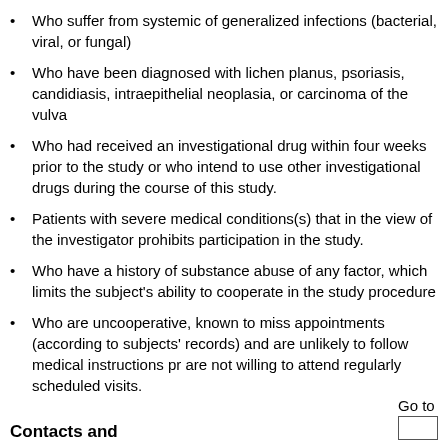Who suffer from systemic of generalized infections (bacterial, viral, or fungal)
Who have been diagnosed with lichen planus, psoriasis, candidiasis, intraepithelial neoplasia, or carcinoma of the vulva
Who had received an investigational drug within four weeks prior to the study or who intend to use other investigational drugs during the course of this study.
Patients with severe medical conditions(s) that in the view of the investigator prohibits participation in the study.
Who have a history of substance abuse of any factor, which limits the subject's ability to cooperate in the study procedure
Who are uncooperative, known to miss appointments (according to subjects' records) and are unlikely to follow medical instructions pr are not willing to attend regularly scheduled visits.
Contacts and
Go to